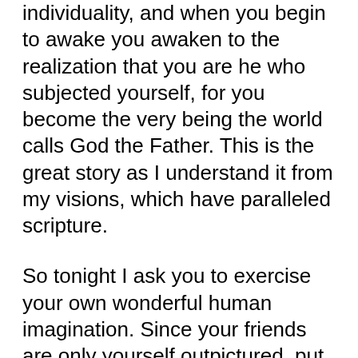individuality, and when you begin to awake you awaken to the realization that you are he who subjected yourself, for you become the very being the world calls God the Father. This is the great story as I understand it from my visions, which have paralleled scripture.
So tonight I ask you to exercise your own wonderful human imagination. Since your friends are only yourself outpictured, put them in a glorious light. Don’t justify their actions by saying: “It serves them right”, because all things exist in you. There is no one out there, but all in you! So if you fail a thousand times, saying: “How often Lord must I forgive my brother who sinned against me?” the answer will come: “Seventy